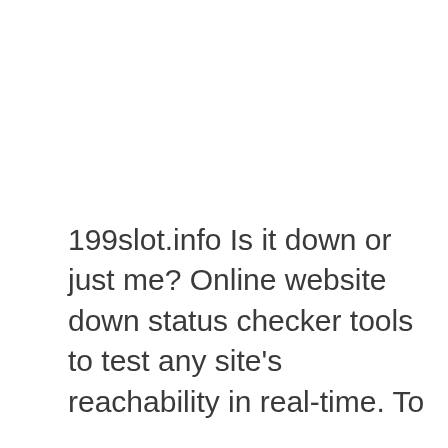199slot.info Is it down or just me? Online website down status checker tools to test any site's reachability in real-time. To